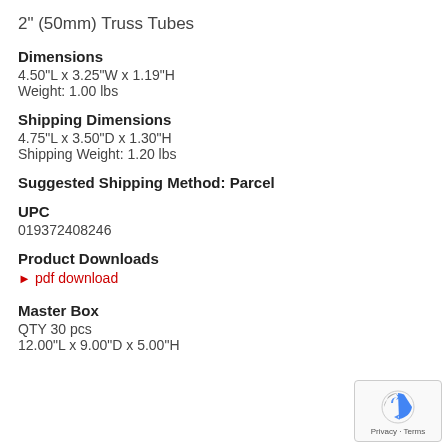2" (50mm) Truss Tubes
Dimensions
4.50"L x 3.25"W x 1.19"H
Weight: 1.00 lbs
Shipping Dimensions
4.75"L x 3.50"D x 1.30"H
Shipping Weight: 1.20 lbs
Suggested Shipping Method: Parcel
UPC
019372408246
Product Downloads
▶ pdf download
Master Box
QTY 30 pcs
12.00"L x 9.00"D x 5.00"H